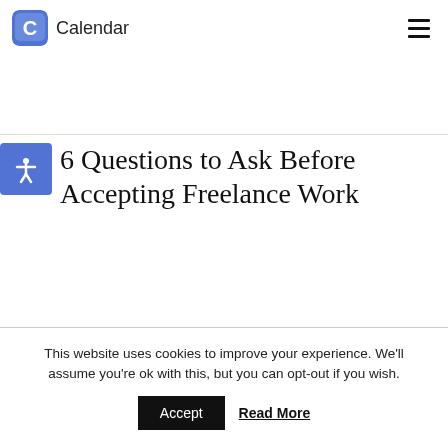Calendar — navigation header with logo and hamburger menu
6 Questions to Ask Before Accepting Freelance Work
This website uses cookies to improve your experience. We'll assume you're ok with this, but you can opt-out if you wish.
Accept  Read More